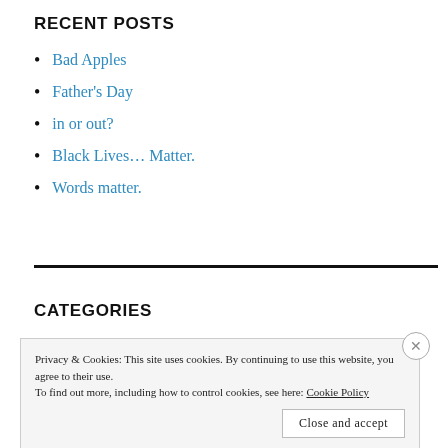RECENT POSTS
Bad Apples
Father's Day
in or out?
Black Lives… Matter.
Words matter.
CATEGORIES
Privacy & Cookies: This site uses cookies. By continuing to use this website, you agree to their use.
To find out more, including how to control cookies, see here: Cookie Policy